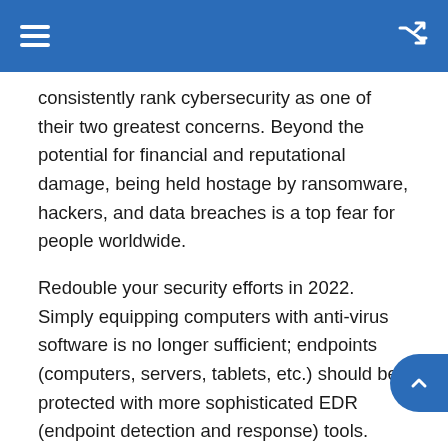consistently rank cybersecurity as one of their two greatest concerns. Beyond the potential for financial and reputational damage, being held hostage by ransomware, hackers, and data breaches is a top fear for people worldwide.
Redouble your security efforts in 2022. Simply equipping computers with anti-virus software is no longer sufficient; endpoints (computers, servers, tablets, etc.) should be protected with more sophisticated EDR (endpoint detection and response) tools. Networks require Security Event and Incident Management (SEIM) with Security Operations Center (SOC) monitoring.